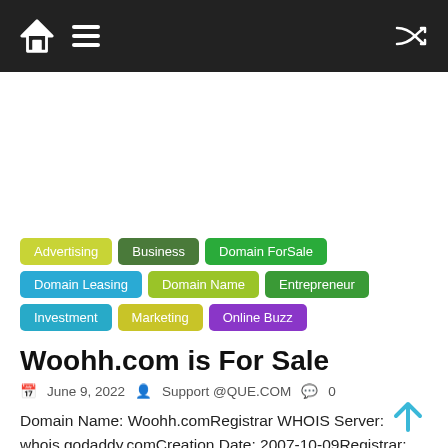Navigation bar with home icon, menu icon, and shuffle icon
[Figure (other): Advertisement placeholder area (blank white space)]
Advertising
Business
Domain ForSale
Domain Leasing
Domain Name
Entrepreneur
Investment
Marketing
Online Buzz
Woohh.com is For Sale
June 9, 2022  Support @QUE.COM  0
Domain Name: Woohh.comRegistrar WHOIS Server: whois.godaddy.comCreation Date: 2007-10-09Registrar: Moscom.com via GoDaddy Woohh.com domain name is a brandable, marketing ready, short